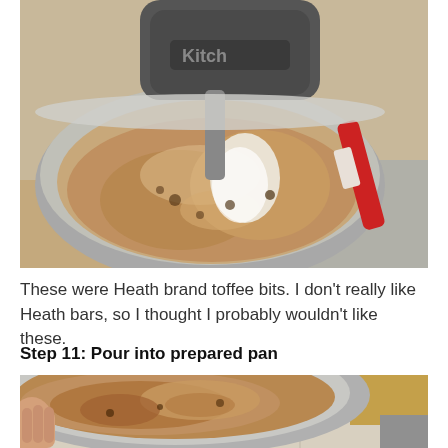[Figure (photo): KitchenAid stand mixer bowl with cookie dough batter; a red spatula is visible being used to scrape the bowl, which contains toffee bits mixed into the dough.]
These were Heath brand toffee bits. I don't really like Heath bars, so I thought I probably wouldn't like these.
Step 11: Pour into prepared pan
[Figure (photo): A stainless steel mixing bowl being tilted to pour the cookie dough batter into a pan, viewed from above on a tile floor.]